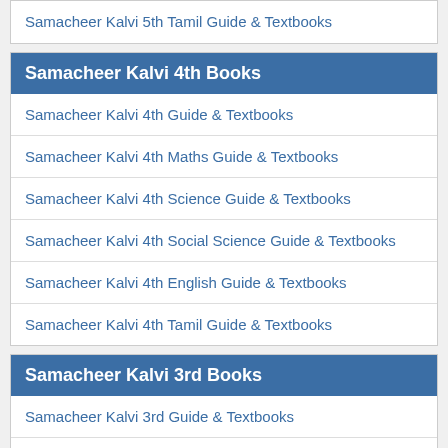Samacheer Kalvi 5th Tamil Guide & Textbooks
Samacheer Kalvi 4th Books
Samacheer Kalvi 4th Guide & Textbooks
Samacheer Kalvi 4th Maths Guide & Textbooks
Samacheer Kalvi 4th Science Guide & Textbooks
Samacheer Kalvi 4th Social Science Guide & Textbooks
Samacheer Kalvi 4th English Guide & Textbooks
Samacheer Kalvi 4th Tamil Guide & Textbooks
Samacheer Kalvi 3rd Books
Samacheer Kalvi 3rd Guide & Textbooks
Samacheer Kalvi 3rd Maths Guide & Textbooks
Samacheer Kalvi 3rd Science Guide & Textbooks
Samacheer Kalvi 3rd Social Science Guide & Textbooks